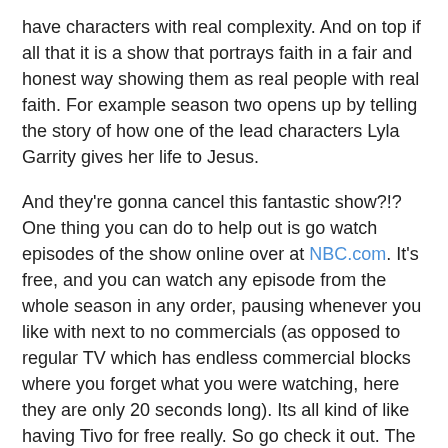have characters with real complexity. And on top if all that it is a show that portrays faith in a fair and honest way showing them as real people with real faith. For example season two opens up by telling the story of how one of the lead characters Lyla Garrity gives her life to Jesus.
And they're gonna cancel this fantastic show?!? One thing you can do to help out is go watch episodes of the show online over at NBC.com. It's free, and you can watch any episode from the whole season in any order, pausing whenever you like with next to no commercials (as opposed to regular TV which has endless commercial blocks where you forget what you were watching, here they are only 20 seconds long). Its all kind of like having Tivo for free really. So go check it out. The more people watch episodes the more NBC will register that maybe they should not cancel this wonderful show.
UPDATE: FNL is being renewed for a 3rd season! In a joint venture between NBC and DirecTV, it will aire first this fall on DirecTV and then be shown on NBC mid-season in the Winter. Better late than never.